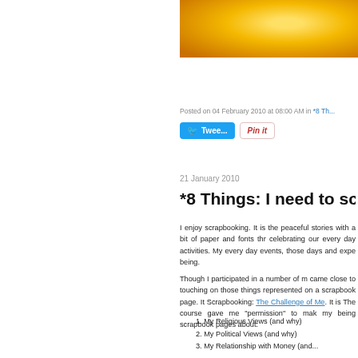[Figure (photo): Close-up photo of a yellow citrus fruit (lemon or orange), partially cropped, showing textured skin with warm yellow-orange tones.]
Posted on 04 February 2010 at 08:00 AM in *8 Th...
Tweet | Pin it
21 January 2010
*8 Things: I need to sc...
I enjoy scrapbooking. It is the peaceful stories with a bit of paper and fonts thr celebrating our every day activities. My every day events, those days and expe being.
Though I participated in a number of m came close to touching on those things represented on a scrapbook page. It Scrapbooking: The Challenge of Me. It is The course gave me "permission" to mak my being scrapbook pages about:
1. My Religious Views (and why)
2. My Political Views (and why)
3. My Relationship with Money (and...